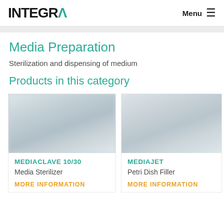INTEGRA | Menu
Media Preparation
Sterilization and dispensing of medium
Products in this category
[Figure (photo): Blurred photo of MEDIACLAVE 10/30 Media Sterilizer product]
MEDIACLAVE 10/30
Media Sterilizer
MORE INFORMATION
[Figure (photo): Blurred photo of MEDIAJET Petri Dish Filler product]
MEDIAJET
Petri Dish Filler
MORE INFORMATION